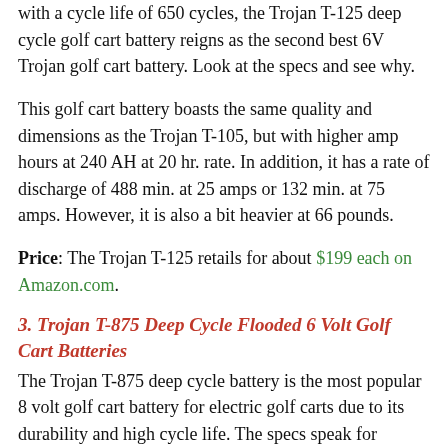with a cycle life of 650 cycles, the Trojan T-125 deep cycle golf cart battery reigns as the second best 6V Trojan golf cart battery. Look at the specs and see why.
This golf cart battery boasts the same quality and dimensions as the Trojan T-105, but with higher amp hours at 240 AH at 20 hr. rate. In addition, it has a rate of discharge of 488 min. at 25 amps or 132 min. at 75 amps. However, it is also a bit heavier at 66 pounds.
Price: The Trojan T-125 retails for about $199 each on Amazon.com.
3. Trojan T-875 Deep Cycle Flooded 6 Volt Golf Cart Batteries
The Trojan T-875 deep cycle battery is the most popular 8 volt golf cart battery for electric golf carts due to its durability and high cycle life. The specs speak for themselves.